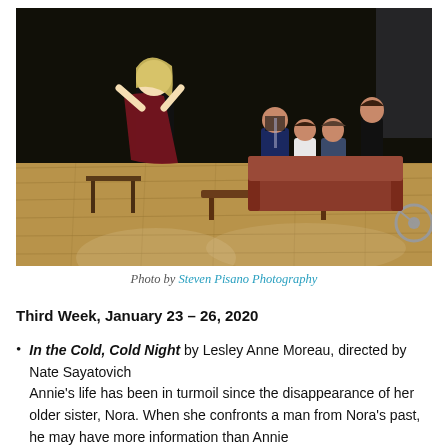[Figure (photo): Theatre production photo showing five actors on a wooden stage set. A woman in black with a red cape stands on the left gesturing dramatically. Four other actors are seated on a couch in the background on a dark stage with wooden flooring.]
Photo by Steven Pisano Photography
Third Week, January 23 – 26, 2020
In the Cold, Cold Night by Lesley Anne Moreau, directed by Nate Sayatovich
Annie's life has been in turmoil since the disappearance of her older sister, Nora. When she confronts a man from Nora's past, he may have more information than Annie